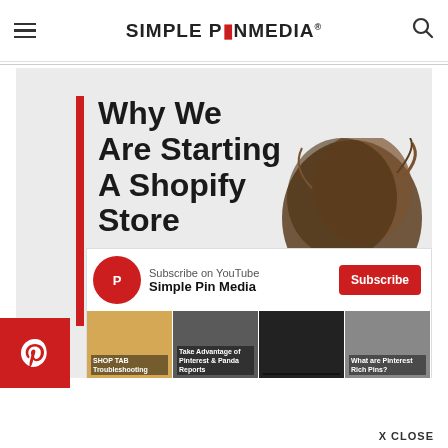SIMPLE PIN MEDIA
[Figure (photo): Blog post featured image showing text 'Why We Are Starting A Shopify Store' with a red vertical bar on the left and a woman's hair bun visible on the right side, on a light gray background.]
[Figure (screenshot): YouTube channel subscription widget showing 'Subscribe on YouTube - Simple Pin Media' with a red Subscribe button and four video thumbnails below: 'SHOP TAB Troubleshooting', 'Take Advantage of Pinterest & Panda Reports', an unlabeled dark video, and 'What are Pinterest Rich Pins?']
[Figure (logo): Pinterest save button — red square with white Pinterest P logo]